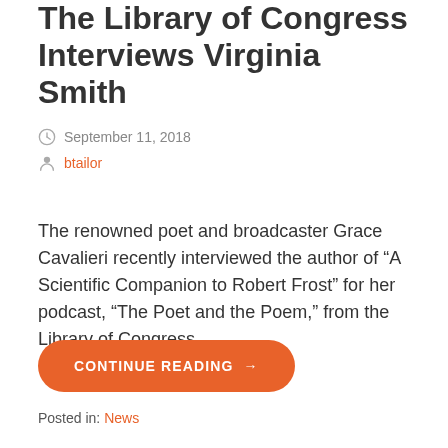The Library of Congress Interviews Virginia Smith
September 11, 2018
btailor
The renowned poet and broadcaster Grace Cavalieri recently interviewed the author of “A Scientific Companion to Robert Frost” for her podcast, “The Poet and the Poem,” from the Library of Congress.
CONTINUE READING →
Posted in: News